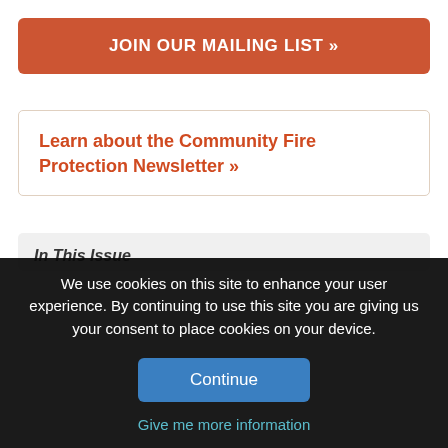JOIN OUR MAILING LIST »
Learn about the Community Fire Protection Newsletter »
In This Issue
We use cookies on this site to enhance your user experience. By continuing to use this site you are giving us your consent to place cookies on your device.
Continue
Give me more information